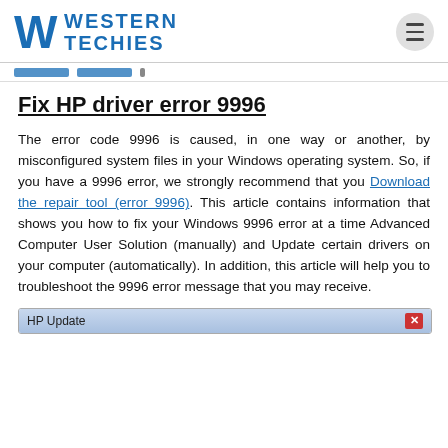WESTERN TECHIES
Fix HP driver error 9996
The error code 9996 is caused, in one way or another, by misconfigured system files in your Windows operating system. So, if you have a 9996 error, we strongly recommend that you Download the repair tool (error 9996). This article contains information that shows you how to fix your Windows 9996 error at a time Advanced Computer User Solution (manually) and Update certain drivers on your computer (automatically). In addition, this article will help you to troubleshoot the 9996 error message that you may receive.
[Figure (screenshot): HP Update dialog window title bar with close button]